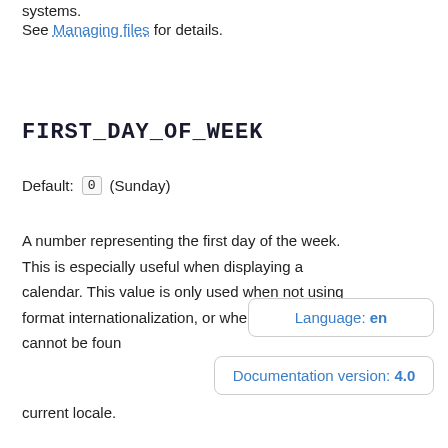systems.
See Managing files for details.
FIRST_DAY_OF_WEEK
Default: 0 (Sunday)
A number representing the first day of the week. This is especially useful when displaying a calendar. This value is only used when not using format internationalization, or when a format cannot be found for the current locale.
Language: en
Documentation version: 4.0